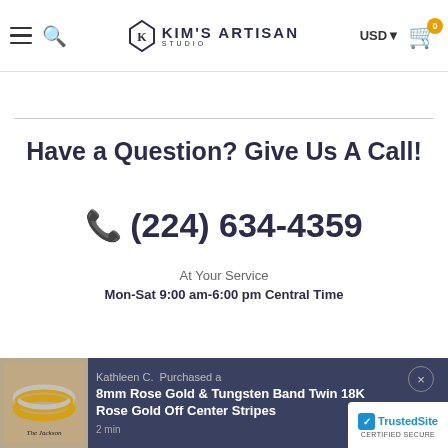Kim's Artisan Studio — navigation bar with USD currency selector and cart (0 items)
Have a Question? Give Us A Call!
📞 (224) 634-4359
At Your Service
Mon-Sat 9:00 am-6:00 pm Central Time
[Figure (screenshot): Bottom notification popup showing a ring product purchase by Kathleen C. — 8mm Rose Gold & Tungsten Band Twin 18K Rose Gold Off Center Stripes, with TrustedSite Certified Secure badge]